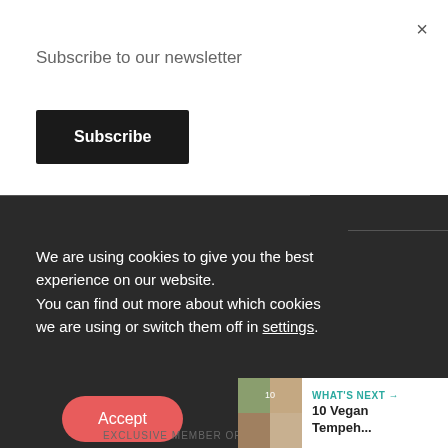Subscribe to our newsletter
Subscribe
×
We are using cookies to give you the best experience on our website.
You can find out more about which cookies we are using or switch them off in settings.
Accept
2022
1
EXCLUSIVE MEMBER OF MEDIAVINE FOOD
WHAT'S NEXT → 10 Vegan Tempeh...